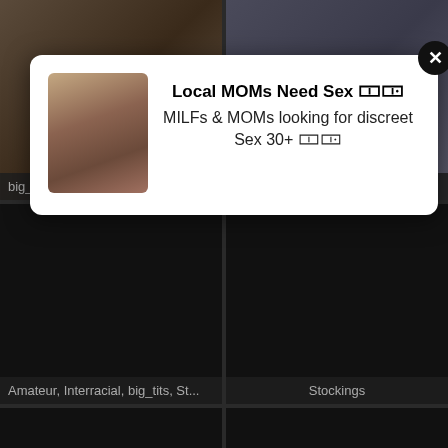[Figure (screenshot): Video grid layout with dark background showing thumbnail cells with tag labels. A popup ad overlays the top portion.]
Local MOMs Need Sex 🀱🀲
MILFs & MOMs looking for discreet Sex 30+ 🀱🀲
big_tits, big_ass, Ass, Babe, Clit, ...
Babe, Orgy, Stockings, Vintage, ...
Amateur, Interracial, big_tits, St...
Stockings